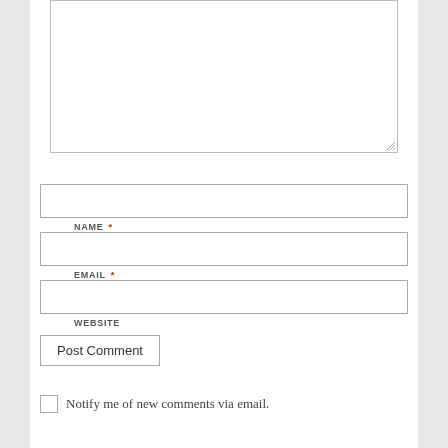[Figure (screenshot): A comment form with a large textarea at the top (partially visible), followed by input fields for NAME (required), EMAIL (required), and WEBSITE, a Post Comment button, and a checkbox to notify of new comments via email.]
NAME *
EMAIL *
WEBSITE
Post Comment
Notify me of new comments via email.